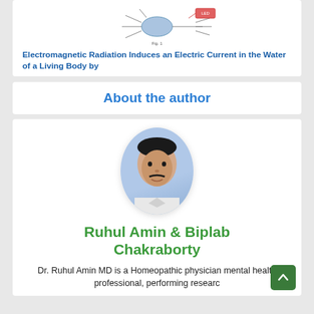[Figure (schematic): Neural/cell diagram labeled Fig.1 with a neuron-like shape and connected elements]
Electromagnetic Radiation Induces an Electric Current in the Water of a Living Body by
About the author
[Figure (photo): Portrait photo of Dr. Ruhul Amin, a man in white clothing against a blue background, shown in oval crop]
Ruhul Amin & Biplab Chakraborty
Dr. Ruhul Amin MD is a Homeopathic physician mental health professional, performing researc